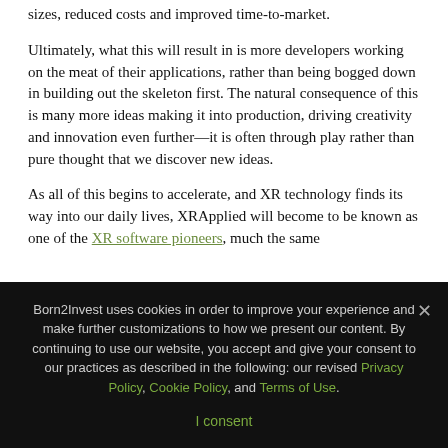sizes, reduced costs and improved time-to-market.
Ultimately, what this will result in is more developers working on the meat of their applications, rather than being bogged down in building out the skeleton first. The natural consequence of this is many more ideas making it into production, driving creativity and innovation even further—it is often through play rather than pure thought that we discover new ideas.
As all of this begins to accelerate, and XR technology finds its way into our daily lives, XRApplied will become to be known as one of the XR software pioneers, much the same
Born2Invest uses cookies in order to improve your experience and make further customizations to how we present our content. By continuing to use our website, you accept and give your consent to our practices as described in the following: our revised Privacy Policy, Cookie Policy, and Terms of Use.
I consent